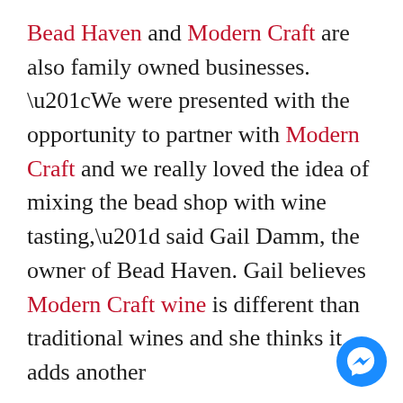Bead Haven and Modern Craft are also family owned businesses. “We were presented with the opportunity to partner with Modern Craft and we really loved the idea of mixing the bead shop with wine tasting,” said Gail Damm, the owner of Bead Haven. Gail believes Modern Craft wine is different than traditional wines and she thinks it adds another